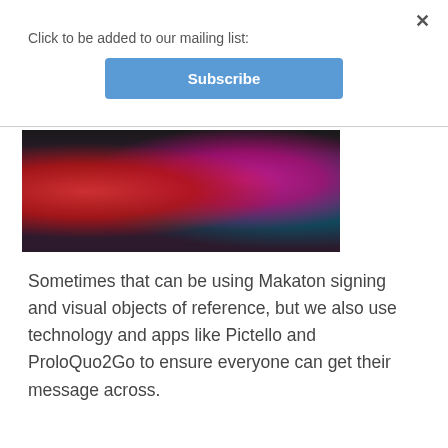Click to be added to our mailing list:
Subscribe
[Figure (photo): People looking at a tablet device together; one person in red, one in pink, one in teal, appearing to share or demonstrate something on the screen.]
Sometimes that can be using Makaton signing and visual objects of reference, but we also use technology and apps like Pictello and ProloQuo2Go to ensure everyone can get their message across.